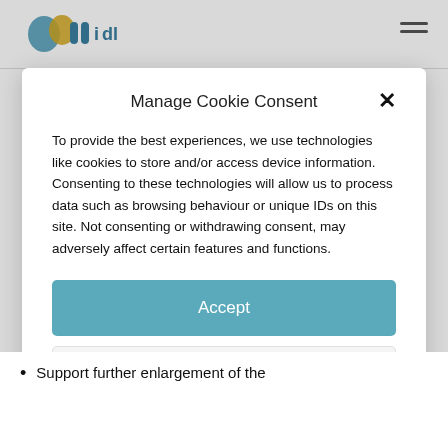[Figure (logo): Colorful logo with blue and yellow shapes, partially visible at top left]
Manage Cookie Consent
To provide the best experiences, we use technologies like cookies to store and/or access device information. Consenting to these technologies will allow us to process data such as browsing behaviour or unique IDs on this site. Not consenting or withdrawing consent, may adversely affect certain features and functions.
Accept
Deny
View preferences
Cookie Policy  Privacy Policy
Support further enlargement of the